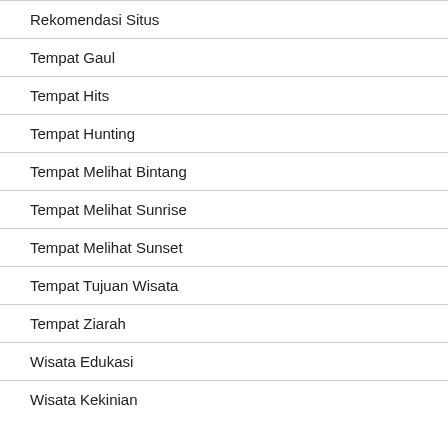Rekomendasi Situs
Tempat Gaul
Tempat Hits
Tempat Hunting
Tempat Melihat Bintang
Tempat Melihat Sunrise
Tempat Melihat Sunset
Tempat Tujuan Wisata
Tempat Ziarah
Wisata Edukasi
Wisata Kekinian